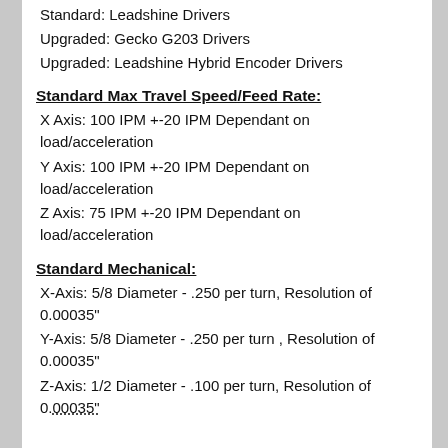Standard: Leadshine Drivers
Upgraded: Gecko G203 Drivers
Upgraded: Leadshine Hybrid Encoder Drivers
Standard Max Travel Speed/Feed Rate:
X Axis: 100 IPM +-20 IPM Dependant on load/acceleration
Y Axis: 100 IPM +-20 IPM Dependant on load/acceleration
Z Axis: 75 IPM +-20 IPM Dependant on load/acceleration
Standard Mechanical:
X-Axis: 5/8 Diameter - .250 per turn, Resolution of 0.00035"
Y-Axis: 5/8 Diameter - .250 per turn , Resolution of 0.00035"
Z-Axis: 1/2 Diameter - .100 per turn, Resolution of 0.00035"